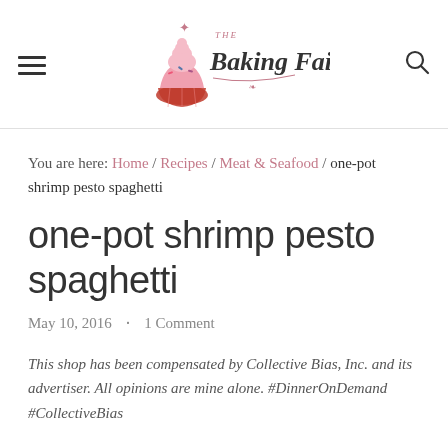[Figure (logo): The Baking Fairy logo with cupcake illustration and script text]
You are here: Home / Recipes / Meat & Seafood / one-pot shrimp pesto spaghetti
one-pot shrimp pesto spaghetti
May 10, 2016 · 1 Comment
This shop has been compensated by Collective Bias, Inc. and its advertiser. All opinions are mine alone. #DinnerOnDemand #CollectiveBias